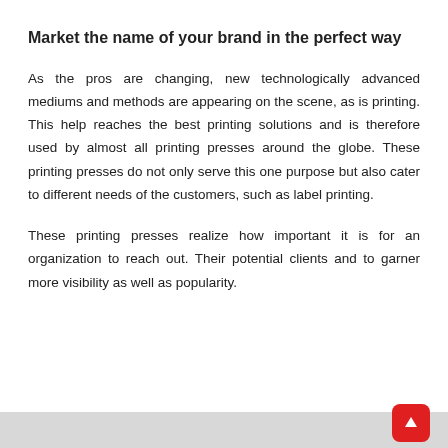Market the name of your brand in the perfect way
As the pros are changing, new technologically advanced mediums and methods are appearing on the scene, as is printing. This help reaches the best printing solutions and is therefore used by almost all printing presses around the globe. These printing presses do not only serve this one purpose but also cater to different needs of the customers, such as label printing.
These printing presses realize how important it is for an organization to reach out. Their potential clients and to garner more visibility as well as popularity.